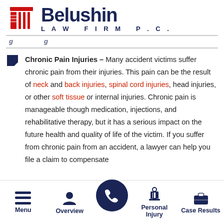[Figure (logo): Belushin Law Firm P.C. logo with red pillar icon and dark navy text]
Chronic Pain Injuries - Many accident victims suffer chronic pain from their injuries. This pain can be the result of neck and back injuries, spinal cord injuries, head injuries, or other soft tissue or internal injuries. Chronic pain is manageable though medication, injections, and rehabilitative therapy, but it has a serious impact on the future health and quality of life of the victim. If you suffer from chronic pain from an accident, a lawyer can help you file a claim to compensate for your pain and suffering.
[Figure (screenshot): Mobile app bottom navigation bar with Menu, Overview, phone call button, Personal Injury, and Case Results icons]